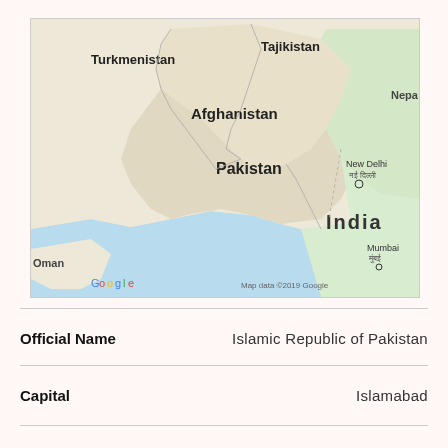[Figure (map): Google Maps screenshot showing Pakistan and surrounding countries including Afghanistan, India, Turkmenistan, Tajikistan, with cities New Delhi, Mumbai labeled. Arabian Sea visible in lower portion. Map data ©2019 Google.]
| Field | Value |
| --- | --- |
| Official Name | Islamic Republic of Pakistan |
| Capital | Islamabad |